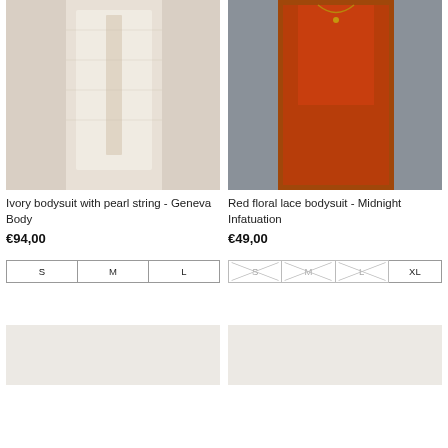[Figure (photo): Ivory lace bodysuit product photo - model wearing white/ivory pearl string bodysuit, left column]
[Figure (photo): Red floral lace bodysuit product photo - model wearing red lace bodysuit, right column]
Ivory bodysuit with pearl string - Geneva Body
€94,00
Red floral lace bodysuit - Midnight Infatuation
€49,00
Size options: S, M, L (available)
Size options: S, M, L (out of stock), XL (available)
[Figure (photo): Bottom left product placeholder image]
[Figure (photo): Bottom right product placeholder image]